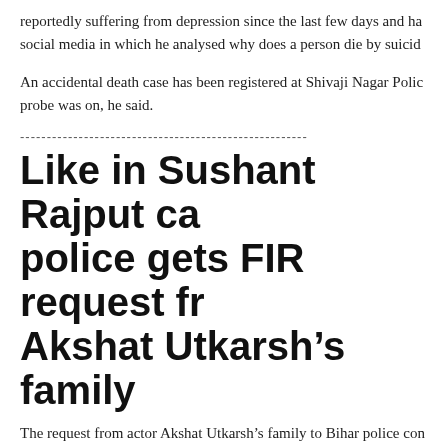reportedly suffering from depression since the last few days and ha... social media in which he analysed why does a person die by suicid...
An accidental death case has been registered at Shivaji Nagar Polic... probe was on, he said.
------------------------------------------------------
Like in Sushant Rajput ca... police gets FIR request fr... Akshat Utkarsh’s family
The request from actor Akshat Utkarsh’s family to Bihar police con... filed a FIR in the Sushant Singh Rajput case for his death in Mumb...
INDIA   Updated: Oct 03, 2020 00:51 IST
Avinash Kumar
Hindustan Times, Patna